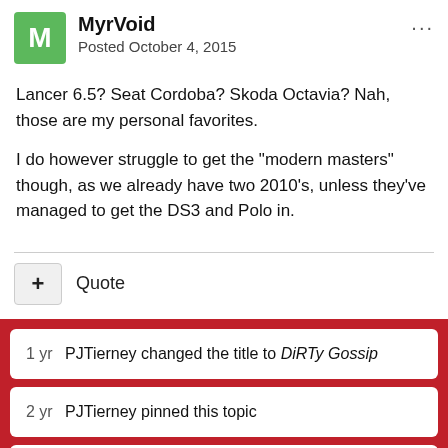MyrVoid
Posted October 4, 2015
Lancer 6.5? Seat Cordoba? Skoda Octavia? Nah, those are my personal favorites.
I do however struggle to get the "modern masters" though, as we already have two 2010's, unless they've managed to get the DS3 and Polo in.
+ Quote
1 yr  PJTierney changed the title to DiRTy Gossip
2 yr  PJTierney pinned this topic
3 yr  PJTierney locked this topic
3 yr  PJTierney unlocked this topic